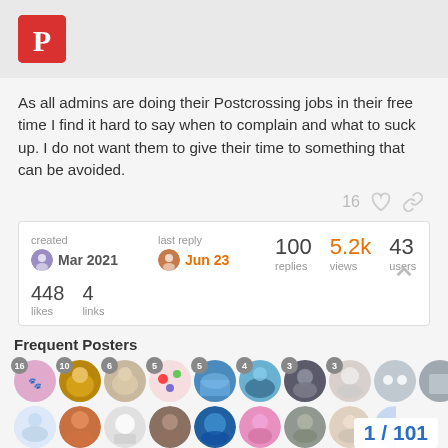[Figure (logo): Postcrossing forum logo: red square with white P]
As all admins are doing their Postcrossing jobs in their free time I find it hard to say when to complain and what to suck up. I do not want them to give their time to something that can be avoided.
16 ♡ 🔗
| created | last reply | replies | views | users |
| --- | --- | --- | --- | --- |
| Mar 2021 | Jun 23 | 100 | 5.2k | 43 |
448 likes  4 links
Frequent Posters
[Figure (photo): Row of user avatar circles with post count badges: 16, 10, 6, 5, 5, 4, 3, 3, and more]
1 / 101